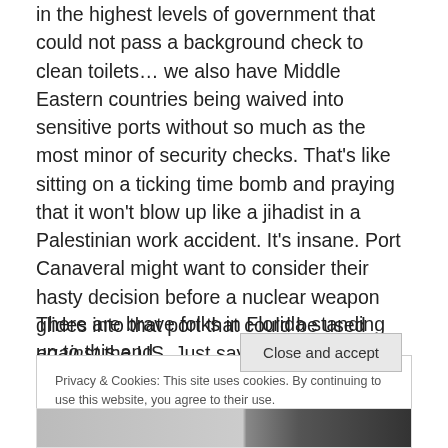in the highest levels of government that could not pass a background check to clean toilets… we also have Middle Eastern countries being waived into sensitive ports without so much as the most minor of security checks. That's like sitting on a ticking time bomb and praying that it won't blow up like a jihadist in a Palestinian work accident. It's insane. Port Canaveral might want to consider their hasty decision before a nuclear weapon glides into that port that could be used against the US. Just sayin'.
There are brave folks in Florida standing up to this and
Privacy & Cookies: This site uses cookies. By continuing to use this website, you agree to their use.
To find out more, including how to control cookies, see here: Cookie Policy
[Figure (photo): Partial image strip at bottom of page, mostly dark with some lighter tones on the left]